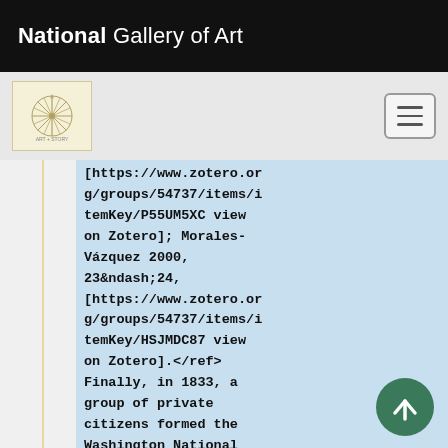National Gallery of Art
[Figure (logo): Decorative circular sunburst/compass rose logo on cream background, sub-header navigation bar with hamburger menu button]
[https://www.zotero.org/groups/54737/items/itemKey/P55UM5XC view on Zotero]; Morales-Vázquez 2000, 23&ndash;24, [https://www.zotero.org/groups/54737/items/itemKey/HSJMDC87 view on Zotero].</ref> Finally, in 1833, a group of private citizens formed the Washington National Monument Society the purpose of erecting a memorial "whose dimensions and